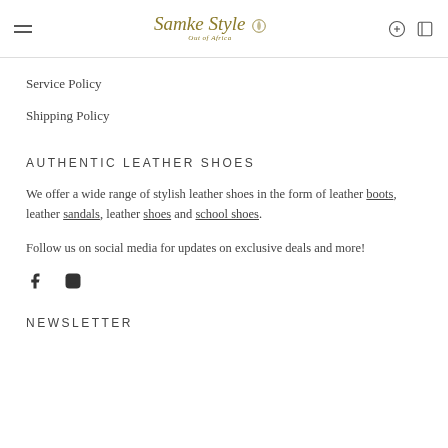Samke Style Out of Africa
Service Policy
Shipping Policy
AUTHENTIC LEATHER SHOES
We offer a wide range of stylish leather shoes in the form of leather boots, leather sandals, leather shoes and school shoes.
Follow us on social media for updates on exclusive deals and more!
[Figure (illustration): Facebook and Instagram social media icons]
NEWSLETTER